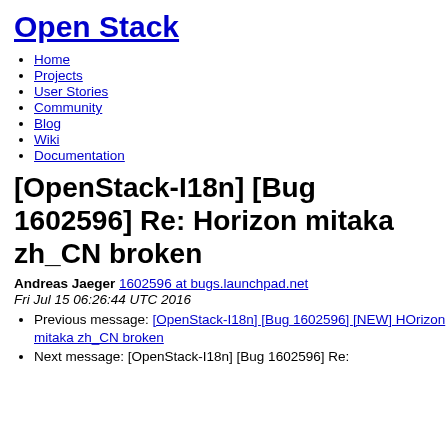Open Stack
Home
Projects
User Stories
Community
Blog
Wiki
Documentation
[OpenStack-I18n] [Bug 1602596] Re: Horizon mitaka zh_CN broken
Andreas Jaeger 1602596 at bugs.launchpad.net
Fri Jul 15 06:26:44 UTC 2016
Previous message: [OpenStack-I18n] [Bug 1602596] [NEW] HOrizon mitaka zh_CN broken
Next message: [OpenStack-I18n] [Bug 1602596] Re: